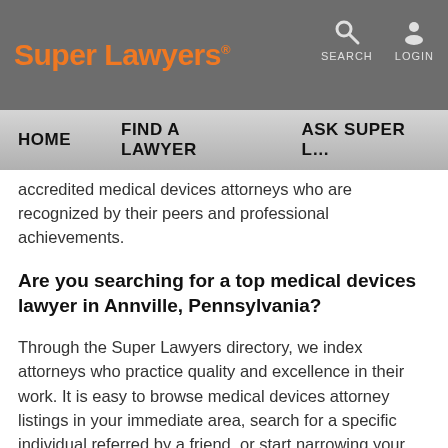Super Lawyers
accredited medical devices attorneys who are recognized by their peers and professional achievements.
Are you searching for a top medical devices lawyer in Annville, Pennsylvania?
Through the Super Lawyers directory, we index attorneys who practice quality and excellence in their work. It is easy to browse medical devices attorney listings in your immediate area, search for a specific individual referred by a friend, or start narrowing your search by practice area.
When you find attorneys who interest you, spend time and explore their profiles. There you will find the medical devices attorney's contact, education, and biographical information